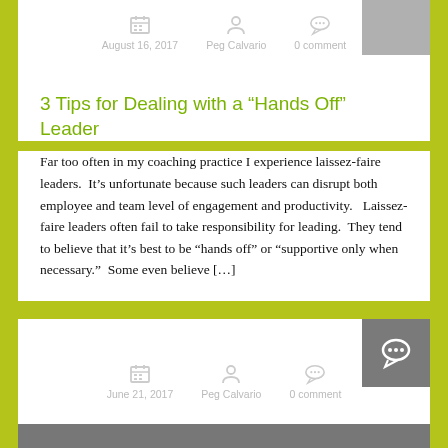August 16, 2017 | Peg Calvario | 0 comment
3 Tips for Dealing with a “Hands Off” Leader
Far too often in my coaching practice I experience laissez-faire leaders.  It’s unfortunate because such leaders can disrupt both employee and team level of engagement and productivity.   Laissez-faire leaders often fail to take responsibility for leading.  They tend to believe that it’s best to be “hands off” or “supportive only when necessary.”  Some even believe […]
June 21, 2017 | Peg Calvario | 0 comment